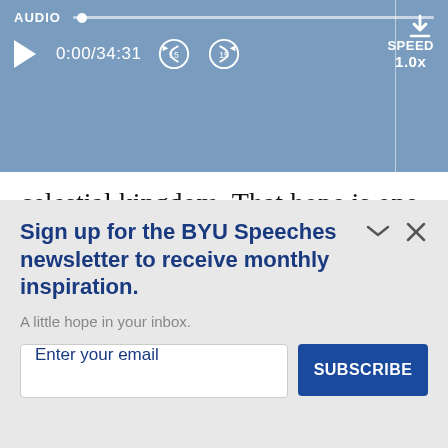[Figure (screenshot): Audio player bar showing AUDIO label with progress track, play button, time 0:00/34:31, rewind 15s, forward 15s buttons, SPEED 1.0x, and download icon]
celestial kingdom. That hope is one of the promised blessings of the covenant relationship. Yet many of us do not understand it or take advantage of it.
When our twin daughters were small, we
Sign up for the BYU Speeches newsletter to receive monthly inspiration.
A little hope in your inbox.